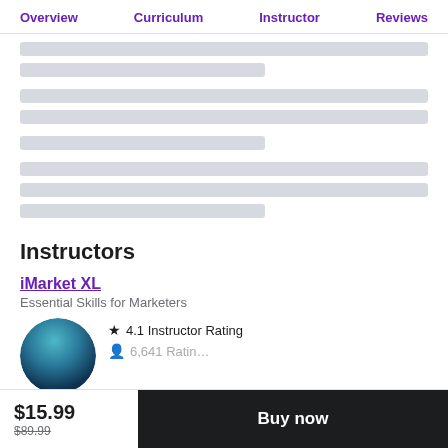Overview  Curriculum  Instructor  Reviews
[Figure (other): Skeleton loading placeholder bars (gray rectangles indicating loading content)]
Instructors
iMarket XL
Essential Skills for Marketers
[Figure (photo): Circular avatar/profile photo with teal/dark blue gradient]
4.1 Instructor Rating
$15.99
$89.99
Buy now